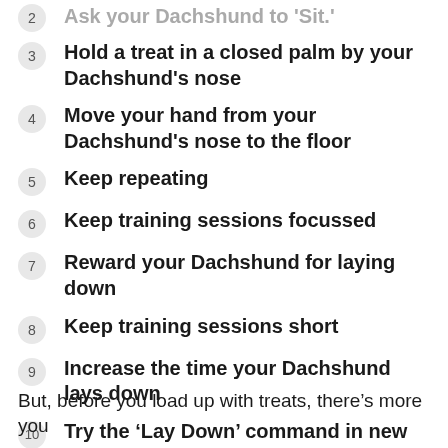2  Ask your Dachshund to 'Sit.'
3  Hold a treat in a closed palm by your Dachshund's nose
4  Move your hand from your Dachshund's nose to the floor
5  Keep repeating
6  Keep training sessions focussed
7  Reward your Dachshund for laying down
8  Keep training sessions short
9  Increase the time your Dachshund lays down
10  Try the ‘Lay Down’ command in new places
11  Phase out treats
But, before you load up with treats, there’s more you